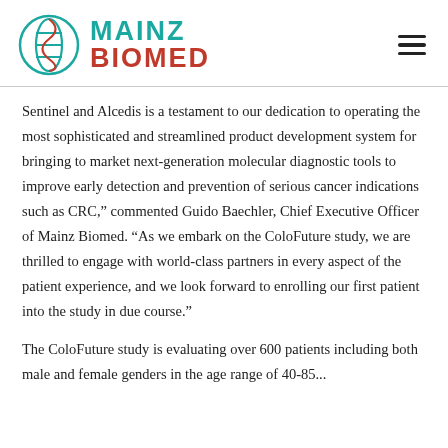[Figure (logo): Mainz Biomed logo with teal and red DNA helix icon and company name]
Sentinel and Alcedis is a testament to our dedication to operating the most sophisticated and streamlined product development system for bringing to market next-generation molecular diagnostic tools to improve early detection and prevention of serious cancer indications such as CRC," commented Guido Baechler, Chief Executive Officer of Mainz Biomed. “As we embark on the ColoFuture study, we are thrilled to engage with world-class partners in every aspect of the patient experience, and we look forward to enrolling our first patient into the study in due course.”
The ColoFuture study is evaluating over 600 patients including both male and female genders in the age range of 40-85...